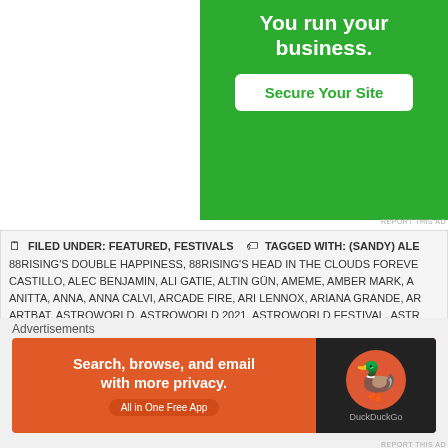[Figure (screenshot): Green advertisement banner with text 'You run your business.' and a white 'Secure Your Site' button]
FILED UNDER: FEATURED, FESTIVALS   TAGGED WITH: (SANDY) ALE... 88RISING'S DOUBLE HAPPINESS, 88RISING'S HEAD IN THE CLOUDS FOREVE... CASTILLO, ALEC BENJAMIN, ALI GATIE, ALTIN GÜN, AMEME, AMBER MARK, A... ANITTA, ANNA, ANNA CALVI, ARCADE FIRE, ARI LENNOX, ARIANA GRANDE, AR... ARTBAT, ASTROWORLD, ASTROWORLD 2021, ASTROWORLD FESTIVAL, ASTR... NAKAMURA, BABY KEEM, BAD BUNNY, BADBADNOTGOOD, BANDA MS, BEAB... BEACH GOONS, BEDOUIN, BELLY, BIG SEAN, BIG WILD, BIGBANG, BILLIE EIL... COFFEE, BLACK MIDI, BLACK PUMAS, BLACKPINK, BROCKHAMPTON, CALVIN... CARLY RAE JEPSEN, CAROLINE POLACHEK, CASHMERE CAT, CHANNEL TRE... CUTLER, CHICANO BATMAN, CHILDISH GAMBINO, CHRIS LIEBING, CITY GIRL... 2020, COACHELLA 2021, COACHELLA MUSIC AND ARTS FESTIVAL, COACHELLL... 2020, COACHELLA MUSIC AND ARTS FESTIVAL 2021, COACHELLA MUSIC AND... ORANGE. COLE KNIGHT. CONAN GRAY. CORDAE. CORONAVIRUS. CORO...
Advertisements
[Figure (screenshot): DuckDuckGo advertisement: orange background with text 'Search, browse, and email with more privacy. All in One Free App' and DuckDuckGo logo on dark background]